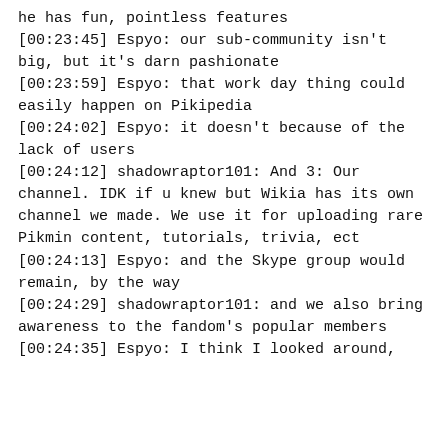he has fun, pointless features
[00:23:45] Espyo: our sub-community isn't big, but it's darn pashionate
[00:23:59] Espyo: that work day thing could easily happen on Pikipedia
[00:24:02] Espyo: it doesn't because of the lack of users
[00:24:12] shadowraptor101: And 3: Our channel. IDK if u knew but Wikia has its own channel we made. We use it for uploading rare Pikmin content, tutorials, trivia, ect
[00:24:13] Espyo: and the Skype group would remain, by the way
[00:24:29] shadowraptor101: and we also bring awareness to the fandom's popular members
[00:24:35] Espyo: I think I looked around,